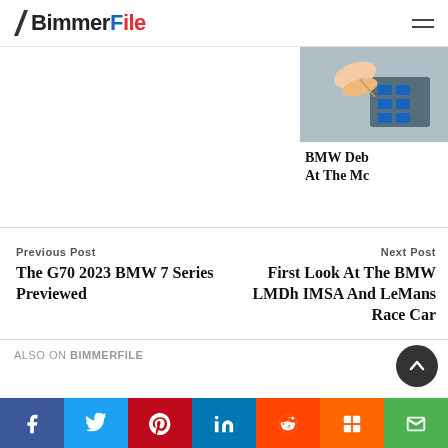BimmerFile
[Figure (photo): Partial image of a hand touching a device, cropped on the right side of the page]
BMW Deb At The Mc
Previous Post
The G70 2023 BMW 7 Series Previewed
Next Post
First Look At The BMW LMDh IMSA And LeMans Race Car
ALSO ON BIMMERFILE